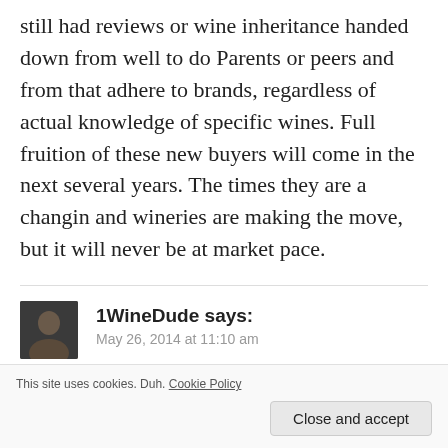still had reviews or wine inheritance handed down from well to do Parents or peers and from that adhere to brands, regardless of actual knowledge of specific wines. Full fruition of these new buyers will come in the next several years. The times they are a changin and wineries are making the move, but it will never be at market pace.
1WineDude says:
May 26, 2014 at 11:10 am
@spiritandwine – that's a very cogent take
This site uses cookies. Duh. Cookie Policy
Close and accept